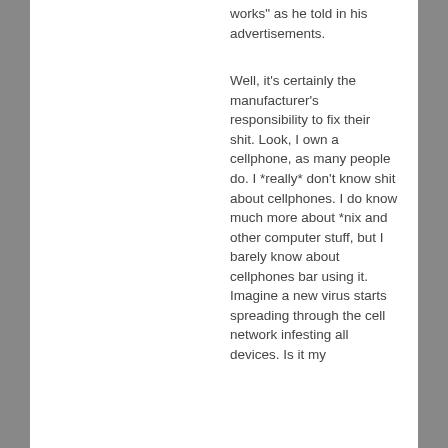works" as he told in his advertisements.
Well, it's certainly the manufacturer's responsibility to fix their shit. Look, I own a cellphone, as many people do. I *really* don't know shit about cellphones. I do know much more about *nix and other computer stuff, but I barely know about cellphones bar using it. Imagine a new virus starts spreading through the cell network infesting all devices. Is it my